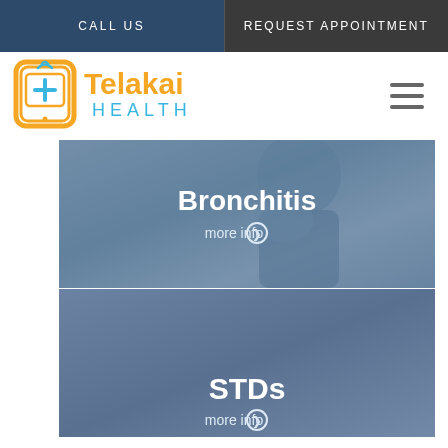CALL US
REQUEST APPOINTMENT
[Figure (logo): Telakai Health logo — orange smartphone icon with blue cross and wifi signal, orange text 'Telakai' and cyan text 'HEALTH']
[Figure (photo): Hamburger menu icon (three horizontal lines)]
[Figure (photo): Bronchitis card with blueish photo of a man coughing/holding his face, overlaid with white text 'Bronchitis' and 'more info' link with circle arrow]
[Figure (photo): STDs card with blue background, white text 'STDs' and 'more info' link with circle arrow]